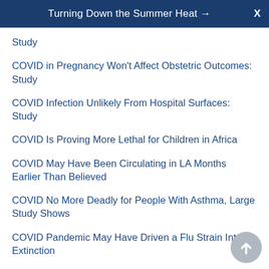Turning Down the Summer Heat → X
Study
COVID in Pregnancy Won't Affect Obstetric Outcomes: Study
COVID Infection Unlikely From Hospital Surfaces: Study
COVID Is Proving More Lethal for Children in Africa
COVID May Have Been Circulating in LA Months Earlier Than Believed
COVID No More Deadly for People With Asthma, Large Study Shows
COVID Pandemic May Have Driven a Flu Strain Into Extinction
COVID Pandemic Shortened U.S. Life Expectancy by More Than a Year
COVID Pandemic Slowed Progress Against